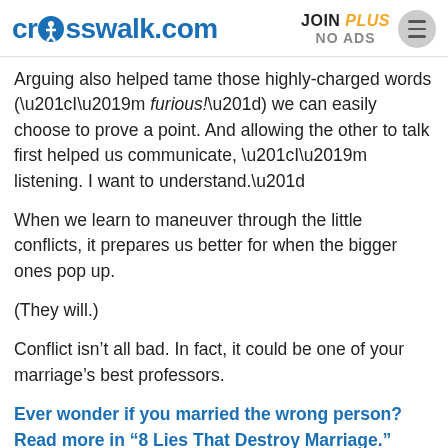crosswalk.com | JOIN PLUS NO ADS
Arguing also helped tame those highly-charged words (“I’m furious!”) we can easily choose to prove a point. And allowing the other to talk first helped us communicate, “I’m listening. I want to understand.”
When we learn to maneuver through the little conflicts, it prepares us better for when the bigger ones pop up.
(They will.)
Conflict isn’t all bad. In fact, it could be one of your marriage’s best professors.
Ever wonder if you married the wrong person? Read more in “8 Lies That Destroy Marriage.”